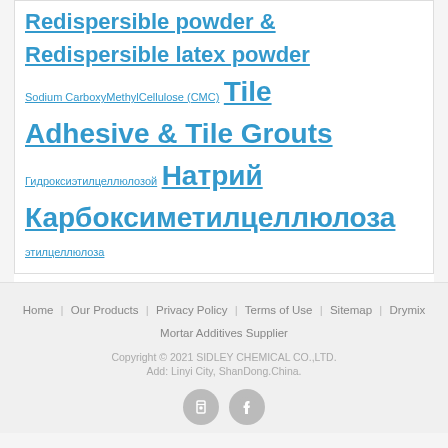Redispersible powder & Redispersible latex powder Sodium CarboxyMethylCellulose (CMC) Tile Adhesive & Tile Grouts Гидроксиэтилцеллюлозой Натрий Карбоксиметилцеллюлоза этилцеллюлоза
Home | Our Products | Privacy Policy | Terms of Use | Sitemap | Drymix Mortar Additives Supplier
Copyright © 2021 SIDLEY CHEMICAL CO.,LTD.
Add: Linyi City, ShanDong.China.